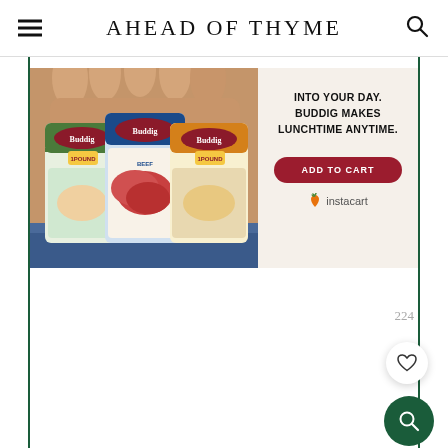AHEAD OF THYME
[Figure (screenshot): Buddig deli meat packages advertisement banner showing three packages of Buddig brand 1 pound lunchmeat (turkey, beef, honey ham) held in hands, with text 'INTO YOUR DAY. BUDDIG MAKES LUNCHTIME ANYTIME.' and an ADD TO CART button with Instacart logo]
224